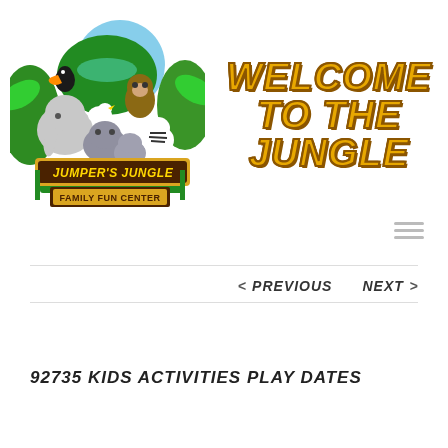[Figure (logo): Jumper's Jungle Family Fun Center logo with cartoon jungle animals (elephant, toucan, monkey, hippo, zebra) and tropical leaves]
WELCOME TO THE JUNGLE
[Figure (other): Hamburger menu icon (three horizontal lines)]
< PREVIOUS   NEXT >
92735 KIDS ACTIVITIES PLAY DATES